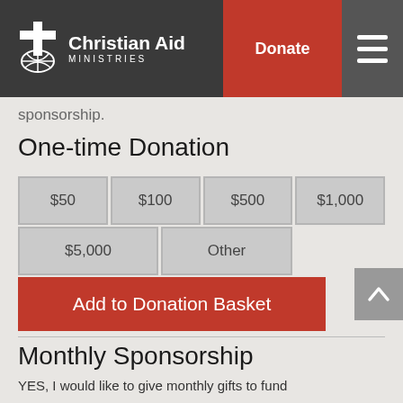Christian Aid Ministries | Donate
sponsorship.
One-time Donation
$50  $100  $500  $1,000  $5,000  Other
Add to Donation Basket
Monthly Sponsorship
YES, I would like to give monthly gifts to fund